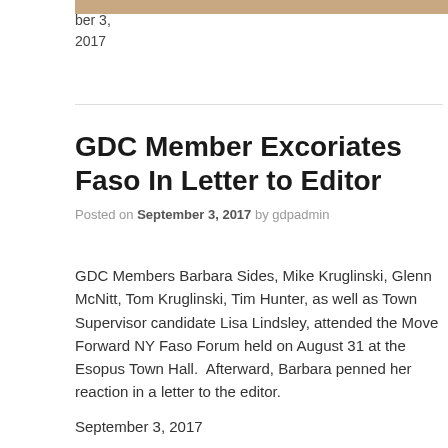[Figure (photo): Partial image strip at top of page showing a photo (cropped, mostly cut off at top)]
ber 3,
2017
GDC Member Excoriates Faso In Letter to Editor
Posted on September 3, 2017 by gdpadmin
GDC Members Barbara Sides, Mike Kruglinski, Glenn McNitt, Tom Kruglinski, Tim Hunter, as well as Town Supervisor candidate Lisa Lindsley, attended the Move Forward NY Faso Forum held on August 31 at the Esopus Town Hall.  Afterward, Barbara penned her reaction in a letter to the editor.
September 3, 2017